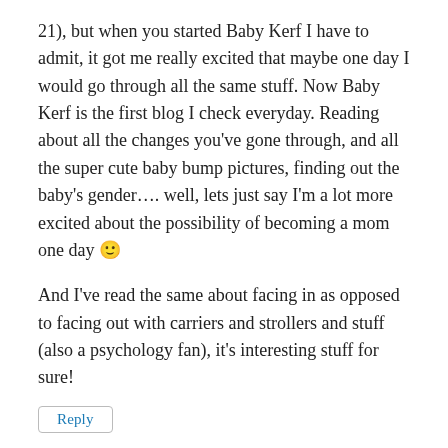21), but when you started Baby Kerf I have to admit, it got me really excited that maybe one day I would go through all the same stuff. Now Baby Kerf is the first blog I check everyday. Reading about all the changes you've gone through, and all the super cute baby bump pictures, finding out the baby's gender.... well, lets just say I'm a lot more excited about the possibility of becoming a mom one day 🙂
And I've read the same about facing in as opposed to facing out with carriers and strollers and stuff (also a psychology fan), it's interesting stuff for sure!
Reply